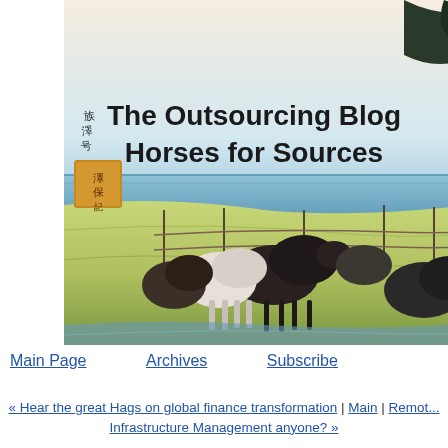[Figure (illustration): Japanese woodblock print style illustration showing horses grazing in a field near water, with mountains and trees in background. Overlaid text reads 'The Outsourcing Blog Horses for Sources' with Japanese characters and a red seal stamp on the left side.]
The Outsourcing Blog
Horses for Sources
Main Page   Archives   Subscribe
« Hear the great Hags on global finance transformation | Main | Remote Infrastructure Management anyone? »